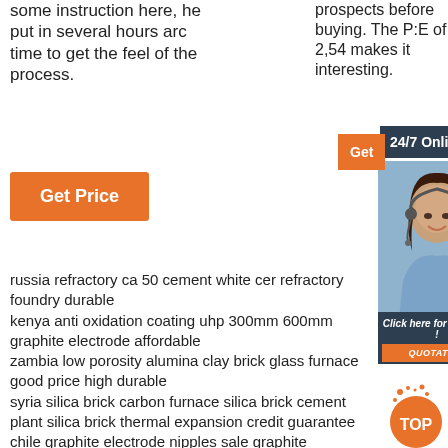some instruction here, he put in several hours arc time to get the feel of the process.
prospects before buying. The P:E of 2,54 makes it interesting.
[Figure (other): Orange 'Get Price' button]
[Figure (other): 24/7 Online chat widget with photo of woman wearing headset, Get button, Click here for free chat!, QUOTATION button]
russia refractory ca 50 cement white cer refractory foundry durable
kenya anti oxidation coating uhp 300mm 600mm graphite electrode affordable
zambia low porosity alumina clay brick glass furnace good price high durable
syria silica brick carbon furnace silica brick cement plant silica brick thermal expansion credit guarantee
chile graphite electrode nipples sale graphite electrodes high bulk density credit guarantee
colombia low price refractory fireclay brick oven
[Figure (other): Orange TOP badge with dots decoration]